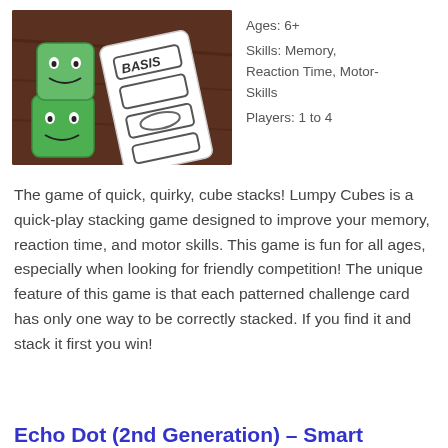[Figure (photo): Photo of green Lumpy Cubes toy blocks with cartoon faces on a wooden table, alongside a white challenge card with stacking patterns]
Ages: 6+
Skills: Memory, Reaction Time, Motor-Skills
Players: 1 to 4
The game of quick, quirky, cube stacks! Lumpy Cubes is a quick-play stacking game designed to improve your memory, reaction time, and motor skills. This game is fun for all ages, especially when looking for friendly competition! The unique feature of this game is that each patterned challenge card has only one way to be correctly stacked. If you find it and stack it first you win!
Echo Dot (2nd Generation) – Smart